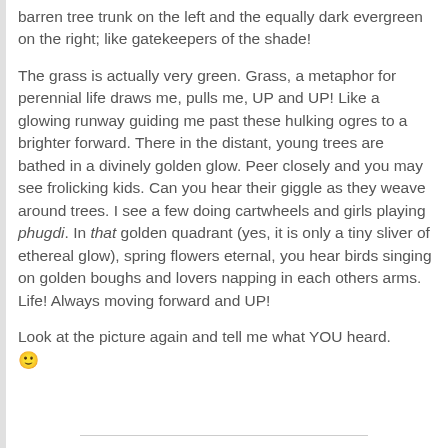barren tree trunk on the left and the equally dark evergreen on the right; like gatekeepers of the shade!
The grass is actually very green. Grass, a metaphor for perennial life draws me, pulls me, UP and UP! Like a glowing runway guiding me past these hulking ogres to a brighter forward. There in the distant, young trees are bathed in a divinely golden glow. Peer closely and you may see frolicking kids. Can you hear their giggle as they weave around trees. I see a few doing cartwheels and girls playing phugdi. In that golden quadrant (yes, it is only a tiny sliver of ethereal glow), spring flowers eternal, you hear birds singing on golden boughs and lovers napping in each others arms. Life! Always moving forward and UP!
Look at the picture again and tell me what YOU heard. 🙂